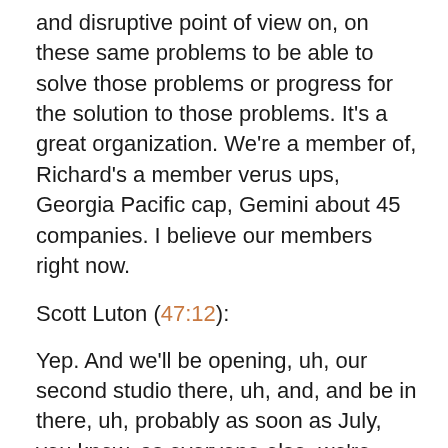and disruptive point of view on, on these same problems to be able to solve those problems or progress for the solution to those problems. It's a great organization. We're a member of, Richard's a member verus ups, Georgia Pacific cap, Gemini about 45 companies. I believe our members right now.
Scott Luton (47:12):
Yep. And we'll be opening, uh, our second studio there, uh, and, and be in there, uh, probably as soon as July, you know, as everyone else, we're trying to figure out our own strategy